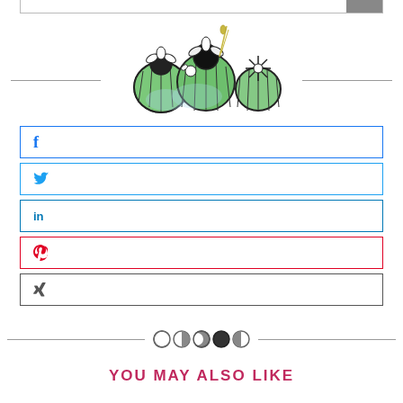[Figure (illustration): Three illustrated green cacti with flowers, centered with horizontal lines on both sides as a logo/header decoration]
[Figure (illustration): Facebook share button with blue 'f' icon]
[Figure (illustration): Twitter share button with blue bird icon]
[Figure (illustration): LinkedIn share button with 'in' icon]
[Figure (illustration): Pinterest share button with red 'P' icon]
[Figure (illustration): Xing share button with dark 'x' icon]
[Figure (illustration): Decorative divider with five circular moon phase icons]
YOU MAY ALSO LIKE